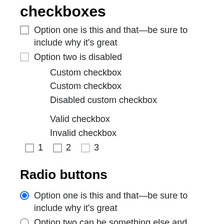Checkboxes
Option one is this and that—be sure to include why it's great
Option two is disabled
Custom checkbox
Custom checkbox
Disabled custom checkbox
Valid checkbox
Invalid checkbox
1  2  3
Radio buttons
Option one is this and that—be sure to include why it's great
Option two can be something else and selecting it will deselect option one
Option three is disabled
Custom radio